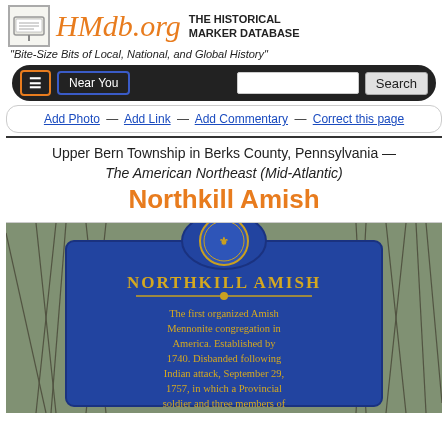HMdb.org THE HISTORICAL MARKER DATABASE
"Bite-Size Bits of Local, National, and Global History"
Navigation bar: Menu | Near You | Search
Add Photo — Add Link — Add Commentary — Correct this page
Upper Bern Township in Berks County, Pennsylvania — The American Northeast (Mid-Atlantic)
Northkill Amish
[Figure (photo): Blue Pennsylvania historical marker for Northkill Amish reading: 'The first organized Amish Mennonite congregation in America. Established by 1740. Disbanded following Indian attack, September 29, 1757, in which a Provincial soldier and three members of...' The marker has a gold Pennsylvania state seal at the top and gold text on blue background. Set against bare winter trees.]